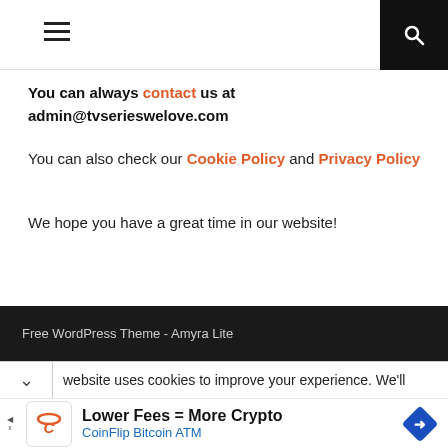Navigation header with hamburger menu and search icon
You can always contact us at admin@tvserieswelove.com
You can also check our Cookie Policy and Privacy Policy
We hope you have a great time in our website!
Free WordPress Theme - Amyra Lite
website uses cookies to improve your experience. We'll
Lower Fees = More Crypto CoinFlip Bitcoin ATM